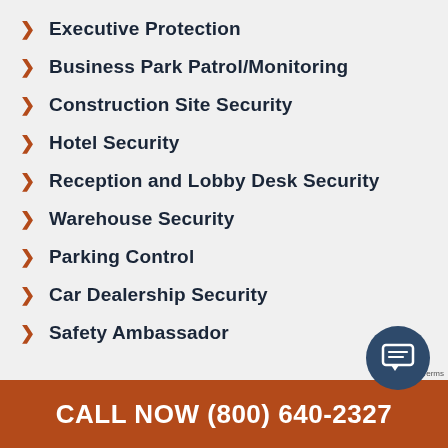Executive Protection
Business Park Patrol/Monitoring
Construction Site Security
Hotel Security
Reception and Lobby Desk Security
Warehouse Security
Parking Control
Car Dealership Security
Safety Ambassador
CALL NOW (800) 640-2327